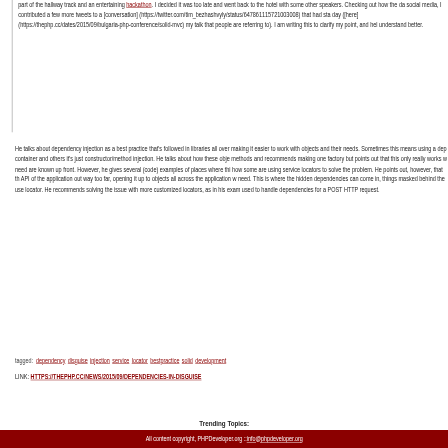part of the hallway track and an entertaining hackathon. I decided it was too late and went back to the hotel with some other speakers. Checking out how the day was on social media, I contributed a few more tweets to a [conversation](https://twitter.com/tim_bezhashvyly/status/647861115721003008) that had started that day ([here](https://thephp.cc/dates/2015/09/bulgaria-php-conference/solid-mvc) is the talk that my talk that people are referring to). I am writing this to clarify my point, and help people understand better.
He talks about dependency injection as a best practice that's followed in libraries all over, making it easier to work with objects and their needs. Sometimes this means using a dependency container and others it's just constructor/method injection. He talks about how these objects get methods and recommends making one factory but points out that this only really works when the need are known up front. However, he gives several (code) examples of places where this fails and how some are using service locators to solve the problem. He points out, however, that this opens the API of the application out way too far, opening it up to objects all across the application who may need. This is where the hidden dependencies can come in, things masked behind the use of the locator. He recommends solving the issue with more customized locators, as in his example, one used to handle dependencies for a POST HTTP request.
tagged: dependency disguise injection service locator bestpractice solid development
LINK: HTTPS://THEPHP.CC/NEWS/2015/09/DEPENDENCIES-IN-DISGUISE
Trending Topics:
All content copyright, PHPDeveloper.org :: info@phpdeveloper.org